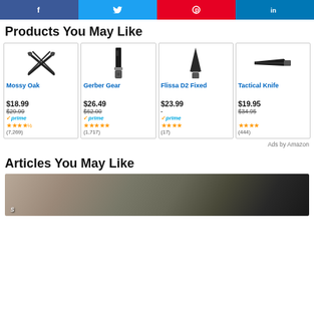[Figure (other): Social share buttons: Facebook, Twitter, Pinterest, LinkedIn]
Products You May Like
[Figure (other): Product card: Mossy Oak, $18.99 (was $29.99), Prime, 3.5 stars, (7,269) reviews]
[Figure (other): Product card: Gerber Gear, $26.49 (was $62.00), Prime, 4.5 stars, (1,717) reviews]
[Figure (other): Product card: Flissa D2 Fixed, $23.99, Prime, 4 stars, (17) reviews]
[Figure (other): Product card: Tactical Knife, $19.95 (was $34.95), 4 stars, (444) reviews]
Ads by Amazon
Articles You May Like
[Figure (photo): Article image showing outdoor/tactical gear on ground]